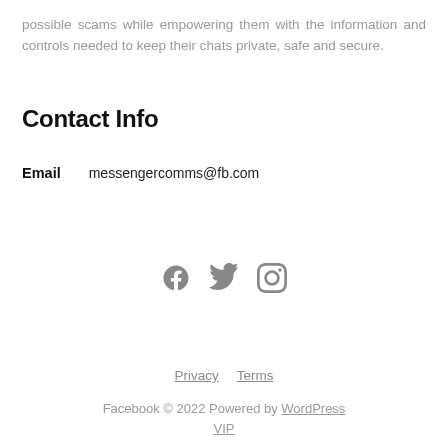possible scams while empowering them with the information and controls needed to keep their chats private, safe and secure.
Contact Info
Email   messengercomms@fb.com
[Figure (other): Social media icons: Facebook, Twitter, Instagram]
Privacy   Terms
Facebook © 2022 Powered by WordPress VIP